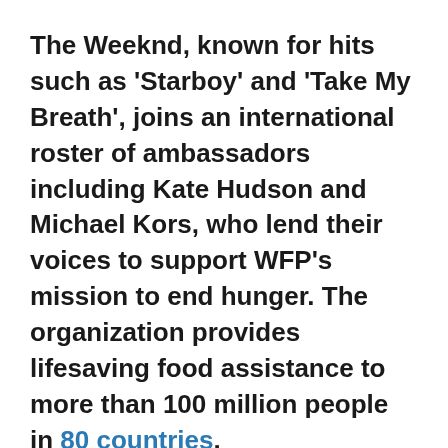The Weeknd, known for hits such as 'Starboy' and 'Take My Breath', joins an international roster of ambassadors including Kate Hudson and Michael Kors, who lend their voices to support WFP's mission to end hunger. The organization provides lifesaving food assistance to more than 100 million people in 80 countries.
WFP USA chief Barron Segar said: "Whether he is performing or speaking